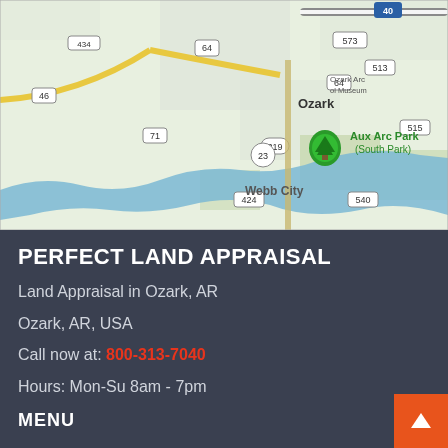[Figure (map): Google Maps view of Ozark, AR area showing highways 40, 434, 64, 46, 71, 219, 23, 424, 513, 515, 540, 573 and locations including Ozark, Webb City, Aux Arc Park (South Park), and the Arkansas River (blue winding river). Green tree pin marker visible near Aux Arc Park.]
PERFECT LAND APPRAISAL
Land Appraisal in Ozark, AR
Ozark, AR, USA
Call now at: 800-313-7040
Hours: Mon-Su 8am - 7pm
MENU